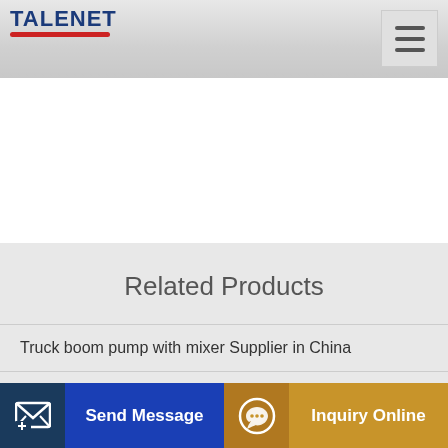TALENET
Related Products
Truck boom pump with mixer Supplier in China
Harga Murah Foton 12m³ Mixer Pan Concrete
MUMTAZ Used Mixer Truck
Send Message
Inquiry Online